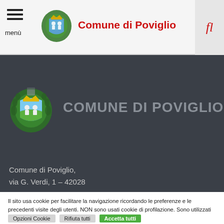Comune di Poviglio
[Figure (logo): Municipal coat of arms logo of Comune di Poviglio — shield with two figures, green wreath border, crown on top]
COMUNE DI POVIGLIO
Comune di Poviglio,
via G. Verdi, 1 – 42028
Il sito usa cookie per facilitare la navigazione ricordando le preferenze e le precedenti visite degli utenti. NON sono usati cookie di profilazione. Sono utilizzati soltanto cookie tecnici e di terze parti analitici (IP anonimo).   Con "Accetta tutto", si acconsente all'uso di TUTTI i cookie. Visitando "Opzioni Cookie" si può dare un consenso differenziato. Ulteriori informazioni
Opzioni Cookie
Rifiuta tutti
Accetta tutti